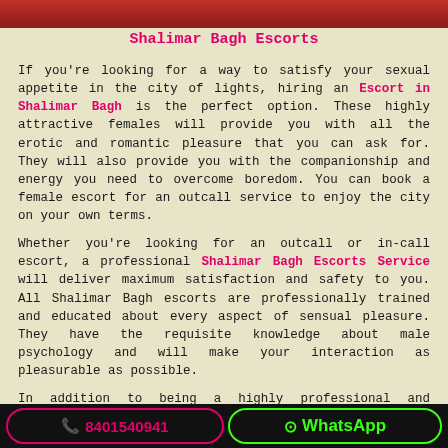[Figure (photo): Top banner image with red/maroon background]
Shalimar Bagh Escorts
If you're looking for a way to satisfy your sexual appetite in the city of lights, hiring an Escort in Shalimar Bagh is the perfect option. These highly attractive females will provide you with all the erotic and romantic pleasure that you can ask for. They will also provide you with the companionship and energy you need to overcome boredom. You can book a female escort for an outcall service to enjoy the city on your own terms.
Whether you're looking for an outcall or in-call escort, a professional Shalimar Bagh Escorts Service will deliver maximum satisfaction and safety to you. All Shalimar Bagh escorts are professionally trained and educated about every aspect of sensual pleasure. They have the requisite knowledge about male psychology and will make your interaction as pleasurable as possible.
In addition to being a highly professional and experienced escort, Shalimar Bagh call girls can also be a great option for a romantic
📞 8401540941
WhatsApp